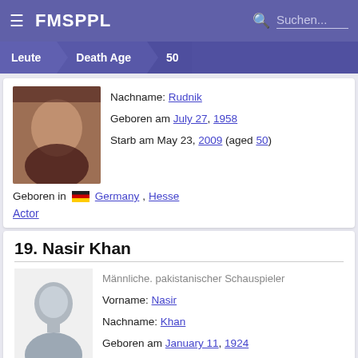FMSPPL  Suchen...
Leute > Death Age > 50
Nachname: Rudnik
Geboren am July 27, 1958
Starb am May 23, 2009 (aged 50)
Geboren in Germany, Hesse
Actor
19. Nasir Khan
Männliche. pakistanischer Schauspieler
Vorname: Nasir
Nachname: Khan
Geboren am January 11, 1924